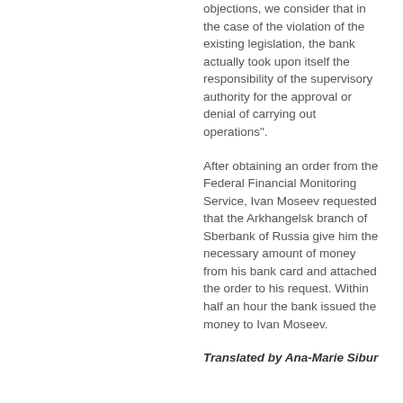objections, we consider that in the case of the violation of the existing legislation, the bank actually took upon itself the responsibility of the supervisory authority for the approval or denial of carrying out operations".
After obtaining an order from the Federal Financial Monitoring Service, Ivan Moseev requested that the Arkhangelsk branch of Sberbank of Russia give him the necessary amount of money from his bank card and attached the order to his request. Within half an hour the bank issued the money to Ivan Moseev.
Translated by Ana-Marie Sibur